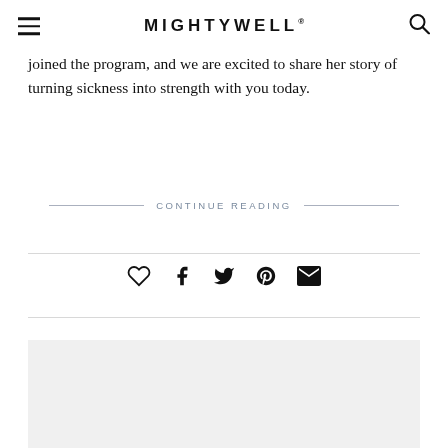MIGHTYWELL®
joined the program, and we are excited to share her story of turning sickness into strength with you today.
CONTINUE READING
[Figure (infographic): Social share icons row: heart/like, Facebook, Twitter, Pinterest, email]
[Figure (photo): Gray placeholder image box at bottom of page]